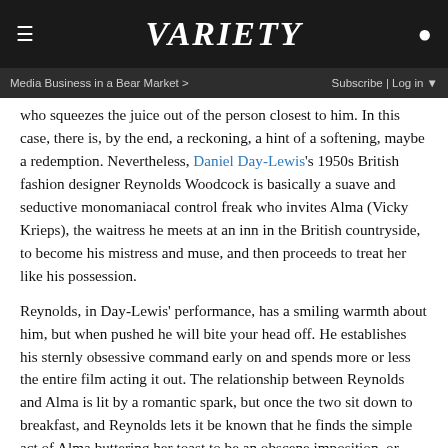VARIETY
Media Business in a Bear Market > | Subscribe | Log in
who squeezes the juice out of the person closest to him. In this case, there is, by the end, a reckoning, a hint of a softening, maybe a redemption. Nevertheless, Daniel Day-Lewis's 1950s British fashion designer Reynolds Woodcock is basically a suave and seductive monomaniacal control freak who invites Alma (Vicky Krieps), the waitress he meets at an inn in the British countryside, to become his mistress and muse, and then proceeds to treat her like his possession.
Reynolds, in Day-Lewis' performance, has a smiling warmth about him, but when pushed he will bite your head off. He establishes his sternly obsessive command early on and spends more or less the entire film acting it out. The relationship between Reynolds and Alma is lit by a romantic spark, but once the two sit down to breakfast, and Reynolds lets it be known that he finds the simple act of Alma buttering her toast to be an obscene imposition, or when she dares to